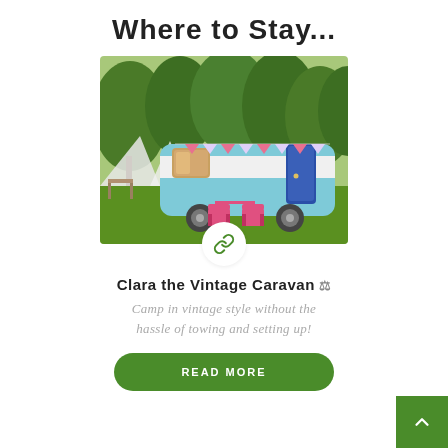Where to Stay...
[Figure (photo): A vintage baby-blue and white caravan with pink bunting, a pink bistro table and chairs set outside, parked on green grass in a wooded setting. A white canopy structure is visible on the left.]
Clara the Vintage Caravan
Camp in vintage style without the hassle of towing and setting up!
READ MORE